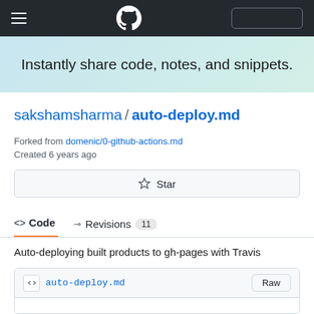GitHub navigation bar with hamburger menu, GitHub logo, and search box
Instantly share code, notes, and snippets.
sakshamsharma / auto-deploy.md
Forked from domenic/0-github-actions.md
Created 6 years ago
Star
<> Code  -O- Revisions  11
Auto-deploying built products to gh-pages with Travis
auto-deploy.md  Raw